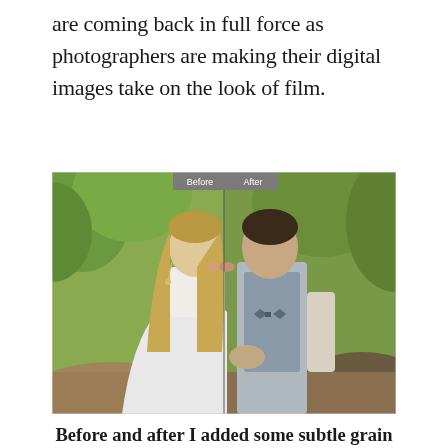are coming back in full force as photographers are making their digital images take on the look of film.
[Figure (photo): Before and after comparison photo of a wedding couple kissing outdoors. A vertical divider splits the image: left side labeled 'Before' (warmer, more natural tones), right side labeled 'After' (film-like grain and color treatment). A bride in white and groom in a gray vest are kissing surrounded by green trees.]
Before and after I added some subtle grain